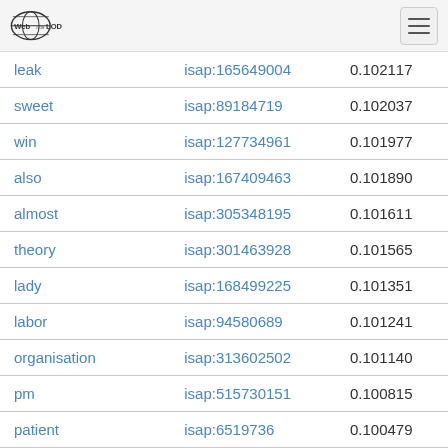Web isa LOD
| leak | isap:165649004 | 0.102117 |
| sweet | isap:89184719 | 0.102037 |
| win | isap:127734961 | 0.101977 |
| also | isap:167409463 | 0.101890 |
| almost | isap:305348195 | 0.101611 |
| theory | isap:301463928 | 0.101565 |
| lady | isap:168499225 | 0.101351 |
| labor | isap:94580689 | 0.101241 |
| organisation | isap:313602502 | 0.101140 |
| pm | isap:515730151 | 0.100815 |
| patient | isap:6519736 | 0.100479 |